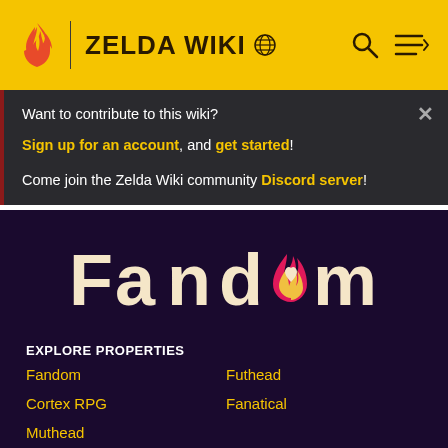ZELDA WIKI
Want to contribute to this wiki? Sign up for an account, and get started! Come join the Zelda Wiki community Discord server!
[Figure (logo): Fandom logo with flame icon and heart symbol replacing the 'o' in Fandom]
EXPLORE PROPERTIES
Fandom
Futhead
Cortex RPG
Fanatical
Muthead